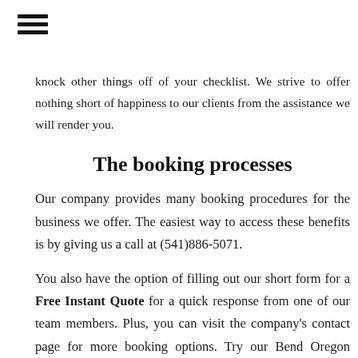[Figure (other): Hamburger menu icon with three horizontal lines]
knock other things off of your checklist. We strive to offer nothing short of happiness to our clients from the assistance we will render you.
The booking processes
Our company provides many booking procedures for the business we offer. The easiest way to access these benefits is by giving us a call at (541)886-5071.
You also have the option of filling out our short form for a Free Instant Quote for a quick response from one of our team members. Plus, you can visit the company's contact page for more booking options. Try our Bend Oregon house